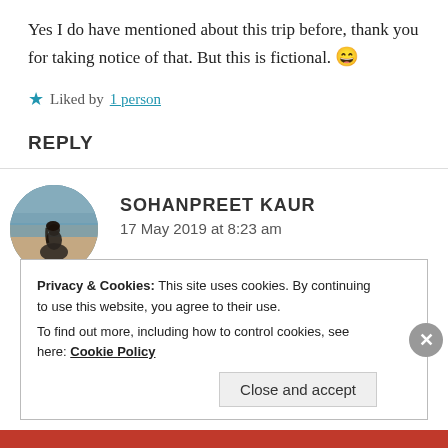Yes I do have mentioned about this trip before, thank you for taking notice of that. But this is fictional. 😄
★ Liked by 1 person
REPLY
[Figure (photo): Circular avatar photo of a person sitting on a beach facing the sea, dark moody tones]
SOHANPREET KAUR
17 May 2019 at 8:23 am
Privacy & Cookies: This site uses cookies. By continuing to use this website, you agree to their use. To find out more, including how to control cookies, see here: Cookie Policy
Close and accept